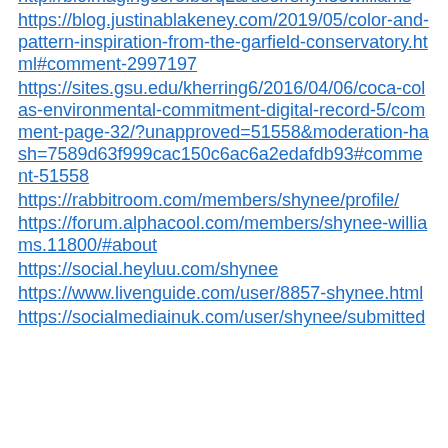https://07547.activeboard.com/m3665265/profile/
http://bioimagingcore.be/q2a/user/shyneewilliams
https://blog.justinablakeney.com/2019/05/color-and-pattern-inspiration-from-the-garfield-conservatory.html#comment-2997197
https://sites.gsu.edu/kherring6/2016/04/06/coca-colas-environmental-commitment-digital-record-5/comment-page-32/?unapproved=51558&moderation-hash=7589d63f999cac150c6ac6a2edafdb93#comment-51558
https://rabbitroom.com/members/shynee/profile/
https://forum.alphacool.com/members/shynee-williams.11800/#about
https://social.heyluu.com/shynee
https://www.livenguide.com/user/8857-shynee.html
https://socialmediainuk.com/user/shynee/submitted